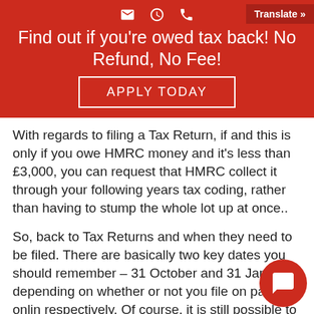Find out if you're owed tax back! No Refund, No Fee!
APPLY TODAY
With regards to filing a Tax Return, if and this is only if you owe HMRC money and it's less than £3,000, you can request that HMRC collect it through your following years tax coding, rather than having to stump the whole lot up at once..
So, back to Tax Returns and when they need to be filed. There are basically two key dates you should remember – 31 October and 31 January, depending on whether or not you file on paper or online respectively. Of course, it is still possible to about filing a tax return on time. When this happens, you must be prepared to face the